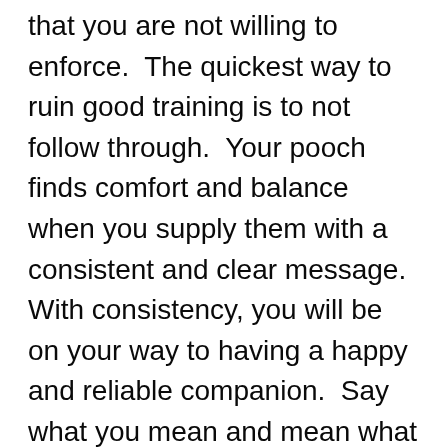that you are not willing to enforce.  The quickest way to ruin good training is to not follow through.  Your pooch finds comfort and balance when you supply them with a consistent and clear message.  With consistency, you will be on your way to having a happy and reliable companion.  Say what you mean and mean what you say....the first time.  And you don't have to be mean to MEAN IT.
Patient & Positive:  Helping your dog JUST Be is the best thing you can teach your dog.  Be consistently patient and